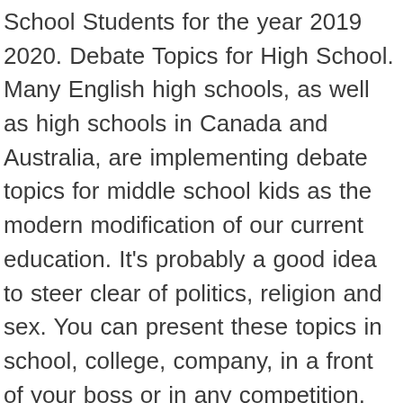School Students for the year 2019 2020. Debate Topics for High School. Many English high schools, as well as high schools in Canada and Australia, are implementing debate topics for middle school kids as the modern modification of our current education. It's probably a good idea to steer clear of politics, religion and sex. You can present these topics in school, college, company, in a front of your boss or in any competition. First, print the conversation topics below. There are many different things that you can talk about in conversation classes that are not only interesting, but can be beneficial to your day-to-day life when making conversation in English. The drinking age should be raised/lowered (pick one and argue for and against) Homework should be banned for all students in elementary and high school. However, it is allowed